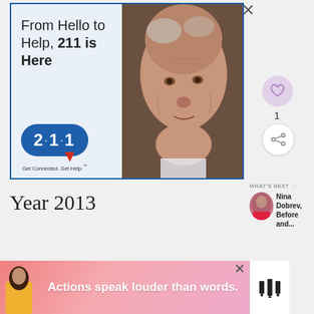[Figure (illustration): Advertisement banner: '211 is Here' service with elderly man photo, blue pill-shaped logo reading '2·1·1 Get Connected. Get Help.' on light blue background]
1
Year 2013
WHAT'S NEXT → Nina Dobrev, Before and...
[Figure (illustration): Advertisement bar: 'Actions speak louder than words.' on pink/red background with person in yellow jacket on left and logo on right]